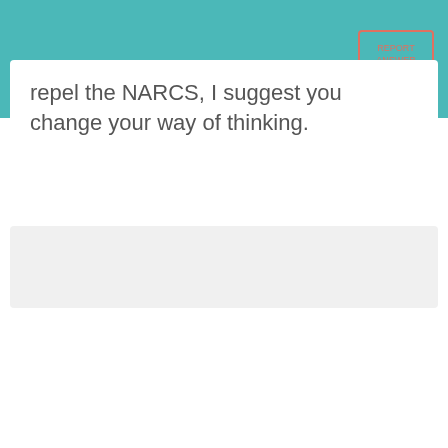repel the NARCS, I suggest you change your way of thinking.